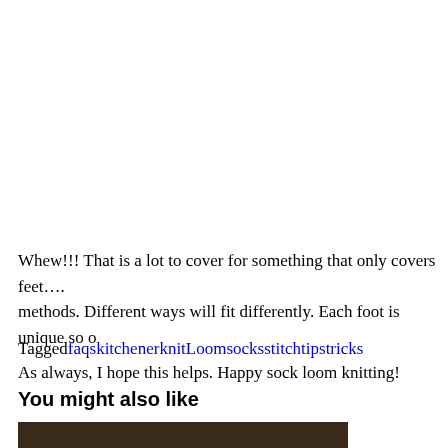Whew!!! That is a lot to cover for something that only covers feet…. methods. Different ways will fit differently. Each foot is unique so o
As always, I hope this helps. Happy sock loom knitting!
Tagged faqs kitchener knit Loom socks stitch tips tricks
You might also like
[Figure (photo): Bottom portion of a photo, dark brownish tones, partially visible at bottom of page]